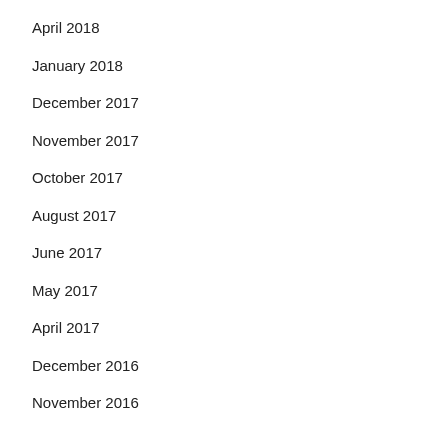April 2018
January 2018
December 2017
November 2017
October 2017
August 2017
June 2017
May 2017
April 2017
December 2016
November 2016